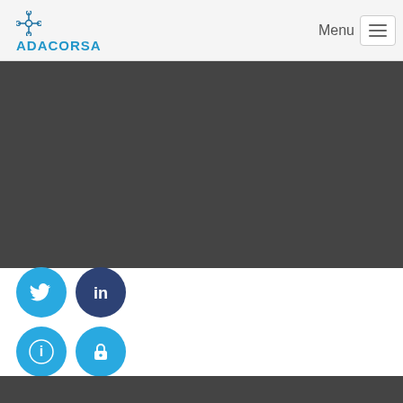ADACORSA - Menu navigation header
[Figure (screenshot): Dark gray content area banner]
[Figure (infographic): Social media and utility icon buttons: Twitter (blue circle), LinkedIn (dark blue circle), Info (blue circle), Lock/privacy (blue circle)]
[Figure (screenshot): Dark gray footer band]